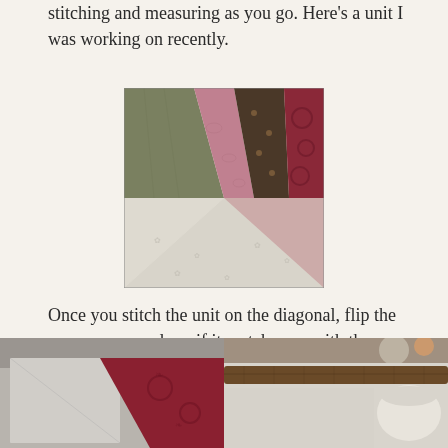stitching and measuring as you go. Here's a unit I was working on recently.
[Figure (photo): A quilt block with diagonal fabric pieces in olive green, dusty pink, dark brown floral, and burgundy patterns arranged in a chevron/flying geese shape against a white floral background.]
Once you stitch the unit on the diagonal, flip the corner open and see if it matches up with the corner of the larger square.
[Figure (photo): Two photos side by side showing quilt pieces being worked on. Left photo shows a light gray square piece next to a red/burgundy fabric on a gray surface. Right photo shows a wooden stick/ruler on a light table surface with other quilting supplies.]